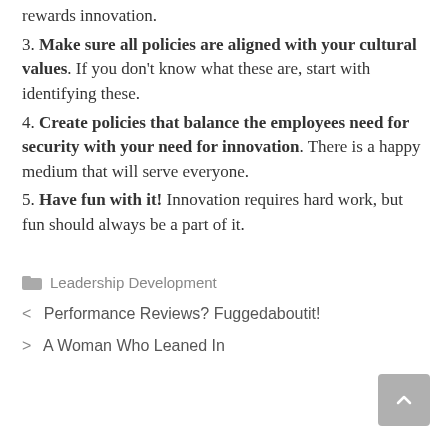rewards innovation.
3. Make sure all policies are aligned with your cultural values. If you don't know what these are, start with identifying these.
4. Create policies that balance the employees need for security with your need for innovation. There is a happy medium that will serve everyone.
5. Have fun with it! Innovation requires hard work, but fun should always be a part of it.
Leadership Development
< Performance Reviews? Fuggedaboutit!
> A Woman Who Leaned In